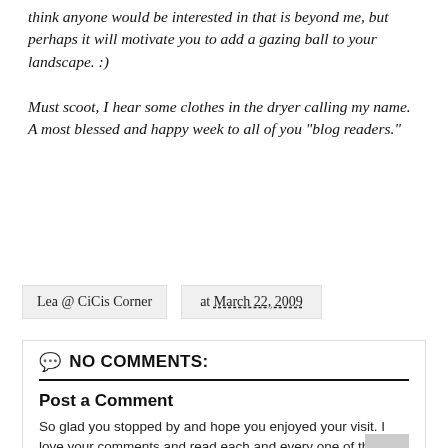think anyone would be interested in that is beyond me, but perhaps it will motivate you to add a gazing ball to your landscape. :)

Must scoot, I hear some clothes in the dryer calling my name. A most blessed and happy week to all of you "blog readers."
Lea @ CiCis Corner
at March 22, 2009
NO COMMENTS:
Post a Comment
So glad you stopped by and hope you enjoyed your visit. I love your comments and read each and every one of them and I always try to reply to them. Blessings to you this day!